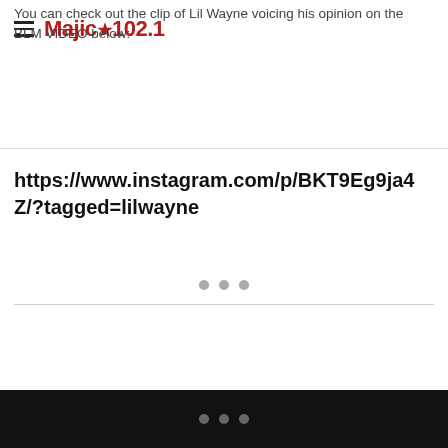Majic★102.1
You can check out the clip of Lil Wayne voicing his opinion on the BLM VIDEO below:
https://www.instagram.com/p/BKT9Eg9ja4Z/?tagged=lilwayne